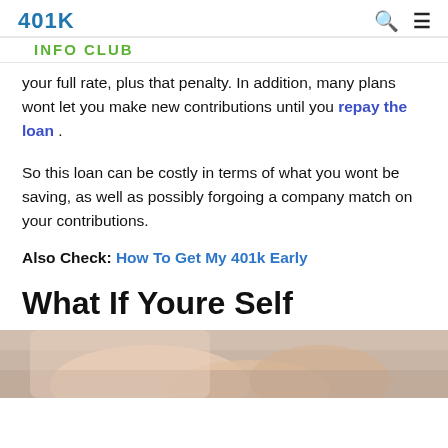401K INFO CLUB
your full rate, plus that penalty. In addition, many plans wont let you make new contributions until you repay the loan .
So this loan can be costly in terms of what you wont be saving, as well as possibly forgoing a company match on your contributions.
Also Check: How To Get My 401k Early
What If Youre Self
[Figure (photo): Partial image of hands, cropped at bottom of page]